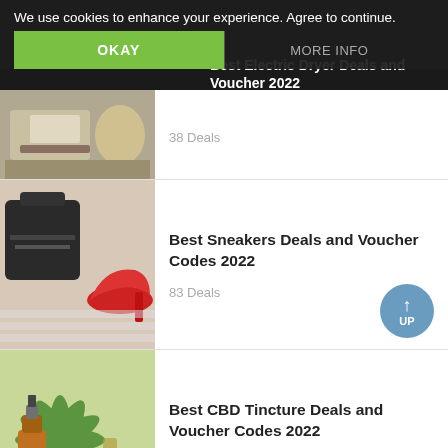We use cookies to enhance your experience. Agree to continue.
OKAY
MORE INFO
[Figure (photo): Living room with sofa and table]
Best Electric Dryer Deals and Voucher 2022
38 Deals
[Figure (photo): Black handbag and red high heel shoes]
Best Sneakers Deals and Voucher Codes 2022
83 Deals
[Figure (photo): CBD tincture bottles with cannabis leaves]
Best CBD Tincture Deals and Voucher Codes 2022
100 Deals
Saving & Shopping
Considering a Sales Discount? Here's